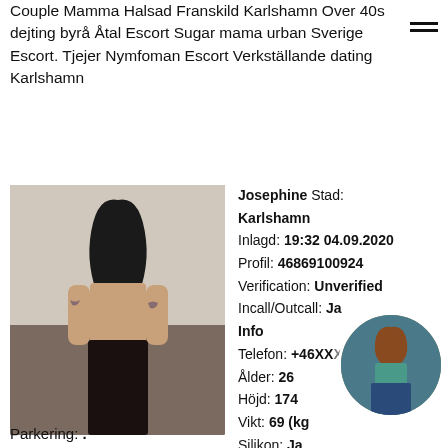Couple Mamma Halsad Franskild Karlshamn Over 40s dejting byrå Åtal Escort Sugar mama urban Sverige Escort. Tjejer Nymfoman Escort Verkställande dating Karlshamn
[Figure (photo): Main profile photo of a woman with dark hair and tattoos]
Josephine Stad: Karlshamn Inlagd: 19:32 04.09.2020 Profil: 46869100924 Verification: Unverified Incall/Outcall: Ja Info Telefon: +46XXX954 Ålder: 26 Höjd: 174 Vikt: 69 (kg Silikon: Ja
[Figure (photo): Circular thumbnail photo of a woman in teal top and jeans]
Parkering: .